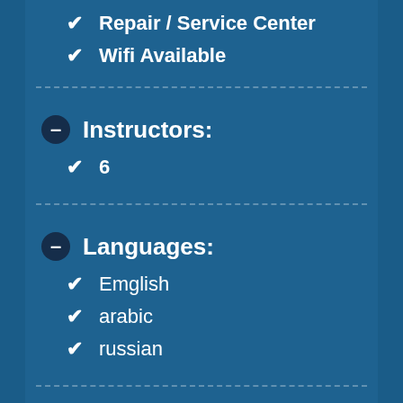Repair / Service Center
Wifi Available
Instructors:
6
Languages:
Emglish
arabic
russian
Prices:
From 15JD for recreational dive